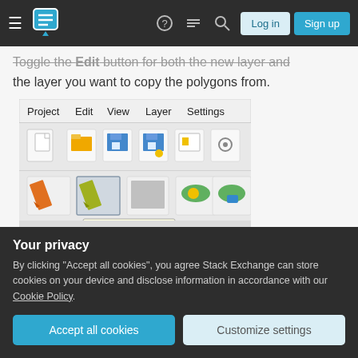Stack Exchange navigation bar with Log in and Sign up buttons
Toggle the Edit button for both the new layer and the layer you want to copy the polygons from.
[Figure (screenshot): QGIS toolbar screenshot showing Project, Edit, View, Layer, Settings menus and toolbar icons including a highlighted 'Toggle Editing' button tooltip]
Copy your polygons and paste them into the new shapefile. If there are no errors then the polygons along with their associated attributes should be
Your privacy
By clicking "Accept all cookies", you agree Stack Exchange can store cookies on your device and disclose information in accordance with our Cookie Policy.
Accept all cookies
Customize settings